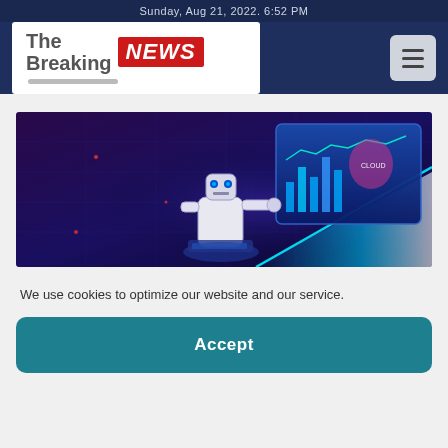Sunday, Aug 21, 2022. 6:52 PM
[Figure (logo): The Breaking NEWS logo with red badge]
[Figure (illustration): AI robot working at a futuristic digital dashboard with neon blue light effects on a dark purple background]
We use cookies to optimize our website and our service.
Accept